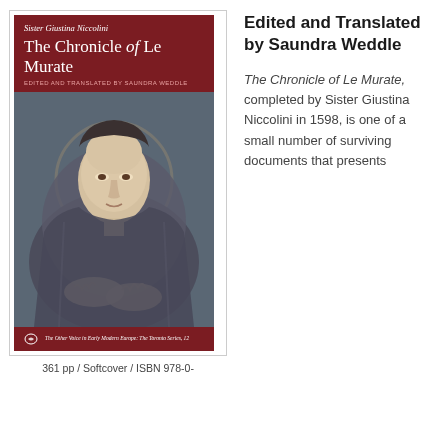[Figure (photo): Book cover of 'The Chronicle of Le Murate' by Sister Giustina Niccolini, edited and translated by Saundra Weddle. The cover features a Renaissance-style painting of a woman (Madonna) with a dark veil against a dark background, on a dark red/maroon header and footer. Published as part of 'The Other Voice in Early Modern Europe: The Toronto Series, 12'.]
361 pp / Softcover / ISBN 978-0-
Edited and Translated by Saundra Weddle
The Chronicle of Le Murate, completed by Sister Giustina Niccolini in 1598, is one of a small number of surviving documents that presents